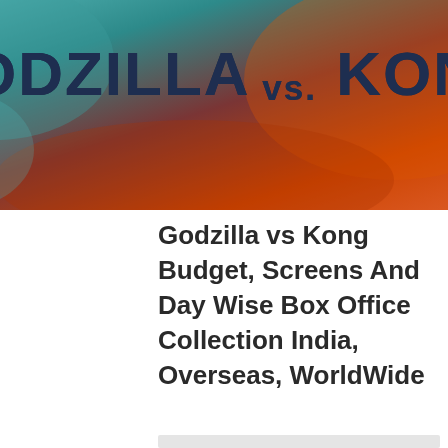[Figure (photo): Movie poster for Godzilla vs Kong with teal and orange/red background colors and bold title text]
Godzilla vs Kong Budget, Screens And Day Wise Box Office Collection India, Overseas, WorldWide
[Figure (other): Light gray placeholder box below the title]